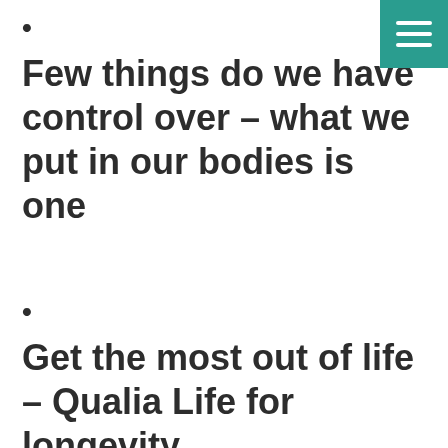•
Few things do we have control over – what we put in our bodies is one
•
Get the most out of life – Qualia Life for longevity